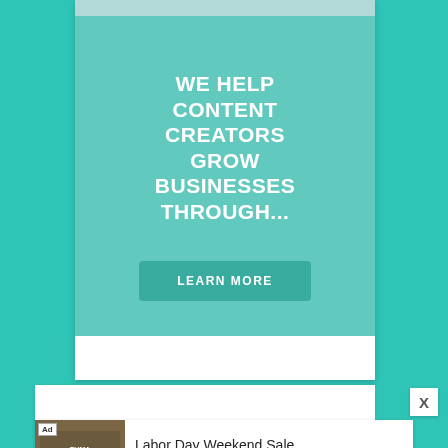[Figure (screenshot): A teal/mint colored advertisement banner with white bold text reading 'WE HELP CONTENT CREATORS GROW BUSINESSES THROUGH...' and a darker teal 'LEARN MORE' button. Below is a white card area, a close X button, and a bottom ad banner for PUMA Labor Day Weekend Sale.]